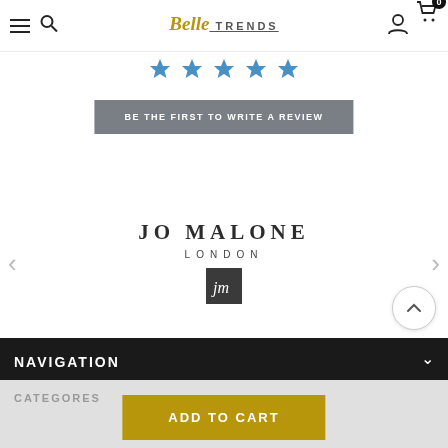Belle TRENDS — navigation header with hamburger menu, search, logo, user icon, cart (0)
[Figure (other): Five blue star rating icons in a row]
BE THE FIRST TO WRITE A REVIEW
[Figure (logo): Jo Malone London brand logo with stylized JM monogram in a dark square]
NAVIGATION
CATEGORES
ADD TO CART